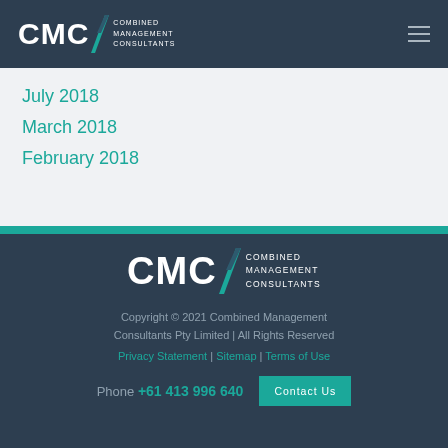CMC Combined Management Consultants
July 2018
March 2018
February 2018
[Figure (logo): CMC Combined Management Consultants footer logo]
Copyright © 2021 Combined Management Consultants Pty Limited | All Rights Reserved
Privacy Statement | Sitemap | Terms of Use
Phone +61 413 996 640  Contact Us